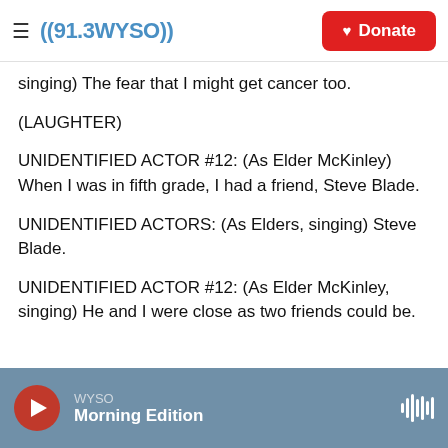((91.3 WYSO)) | Donate
singing) The fear that I might get cancer too.
(LAUGHTER)
UNIDENTIFIED ACTOR #12: (As Elder McKinley) When I was in fifth grade, I had a friend, Steve Blade.
UNIDENTIFIED ACTORS: (As Elders, singing) Steve Blade.
UNIDENTIFIED ACTOR #12: (As Elder McKinley, singing) He and I were close as two friends could be.
WYSO | Morning Edition